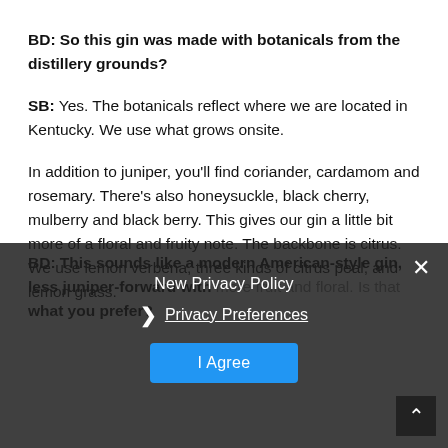BD: So this gin was made with botanicals from the distillery grounds?
SB: Yes. The botanicals reflect where we are located in Kentucky. We use what grows onsite.
In addition to juniper, you'll find coriander, cardamom and rosemary. There's also honeysuckle, black cherry, mulberry and black berry. This gives our gin a little bit more of a floral and fruity note. The backbone is citrus. We use lemon verbena, three kinds of citrus peal, and lemon grass.
BD: This sounds like a modern American-style gin, less juniper-forward with more fruit and floral. Is that what you prefer?
[Figure (screenshot): Privacy policy overlay with title 'New Privacy Policy', a 'Privacy Preferences' link with chevron, an 'I Agree' blue button, and a close X button in the top right corner.]